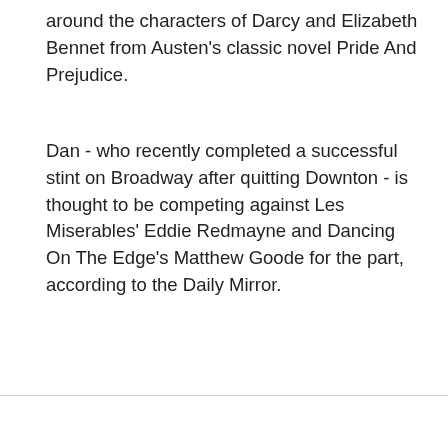around the characters of Darcy and Elizabeth Bennet from Austen's classic novel Pride And Prejudice.
Dan - who recently completed a successful stint on Broadway after quitting Downton - is thought to be competing against Les Miserables' Eddie Redmayne and Dancing On The Edge's Matthew Goode for the part, according to the Daily Mirror.